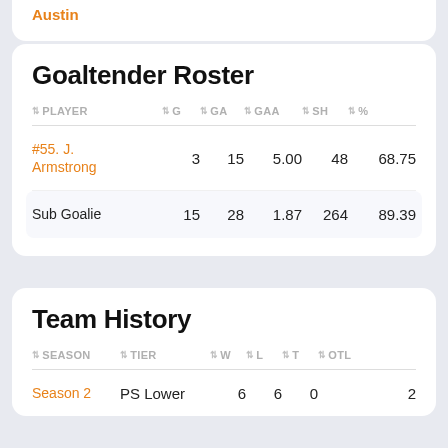Austin
Goaltender Roster
| PLAYER | G | GA | GAA | SH | % |
| --- | --- | --- | --- | --- | --- |
| #55. J. Armstrong | 3 | 15 | 5.00 | 48 | 68.75 |
| Sub Goalie | 15 | 28 | 1.87 | 264 | 89.39 |
Team History
| SEASON | TIER | W | L | T | OTL |
| --- | --- | --- | --- | --- | --- |
| Season 2 | PS Lower | 6 | 6 | 0 | 2 |